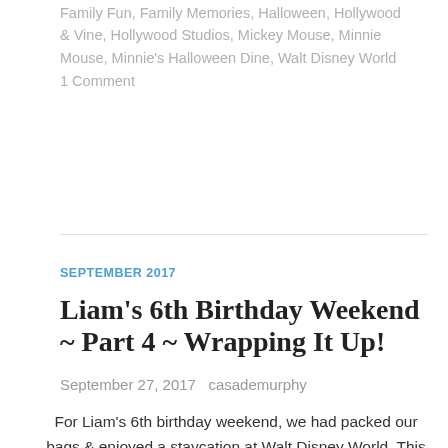Family Fun, Family Memories, Halloween, Hollywood & Vine, Hollywood Studios, Mickey Mouse, Minnie Mouse, Minnie's Halloween Dine, Walt Disney World
1 Comment
SEPTEMBER 2017
Liam's 6th Birthday Weekend ~ Part 4 ~ Wrapping It Up!
September 27, 2017   casademurphy
For Liam's 6th birthday weekend, we had packed our bags & enjoyed a staycation at Walt Disney World. This is the last post in our series. It's really been a blast sharing our memories & photos. My main purpose of this blog is turning it into a keepsake book for Liam, so capturing all of these special